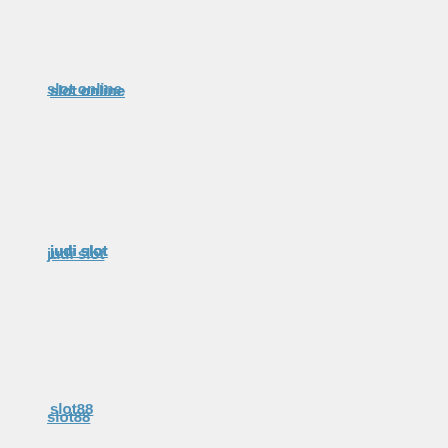slot online
judi slot
slot88
slot online
สล็อตเว็บตรงไม่ผ่านเอเย่นต์
slot online terpercaya di indonesia
เกมส์ สล็อตออน ไลน์